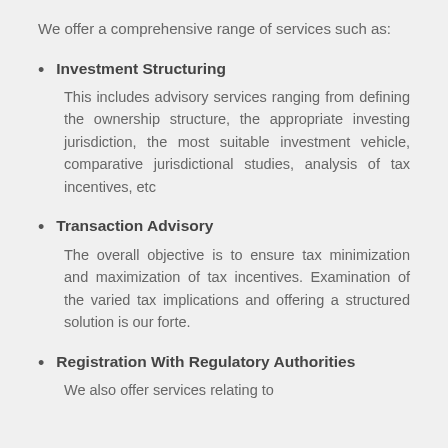We offer a comprehensive range of services such as:
Investment Structuring
This includes advisory services ranging from defining the ownership structure, the appropriate investing jurisdiction, the most suitable investment vehicle, comparative jurisdictional studies, analysis of tax incentives, etc
Transaction Advisory
The overall objective is to ensure tax minimization and maximization of tax incentives. Examination of the varied tax implications and offering a structured solution is our forte.
Registration With Regulatory Authorities
We also offer services relating to